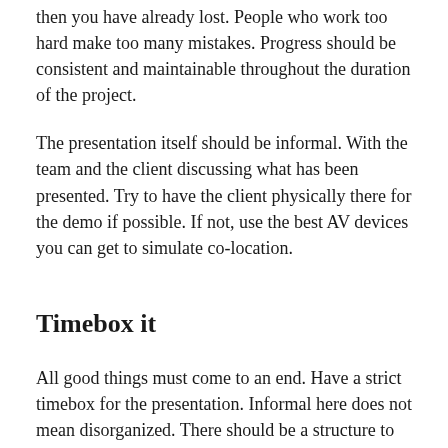then you have already lost. People who work too hard make too many mistakes. Progress should be consistent and maintainable throughout the duration of the project.
The presentation itself should be informal. With the team and the client discussing what has been presented. Try to have the client physically there for the demo if possible. If not, use the best AV devices you can get to simulate co-location.
Timebox it
All good things must come to an end. Have a strict timebox for the presentation. Informal here does not mean disorganized. There should be a structure to the meeting. Something like.